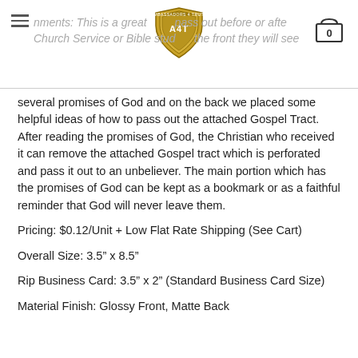nments: This is a great pass out before or after Church Service or Bible study on the front they will see
several promises of God and on the back we placed some helpful ideas of how to pass out the attached Gospel Tract. After reading the promises of God, the Christian who received it can remove the attached Gospel tract which is perforated and pass it out to an unbeliever. The main portion which has the promises of God can be kept as a bookmark or as a faithful reminder that God will never leave them.
Pricing: $0.12/Unit + Low Flat Rate Shipping (See Cart)
Overall Size: 3.5” x 8.5”
Rip Business Card: 3.5” x 2” (Standard Business Card Size)
Material Finish: Glossy Front, Matte Back